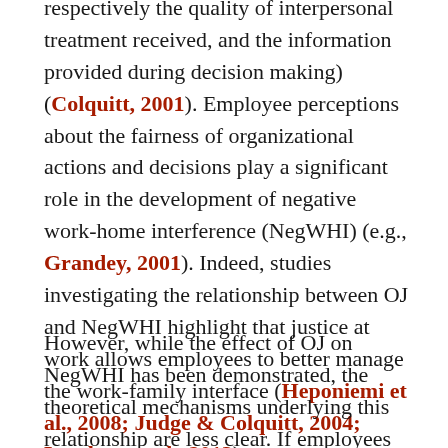respectively the quality of interpersonal treatment received, and the information provided during decision making) (Colquitt, 2001). Employee perceptions about the fairness of organizational actions and decisions play a significant role in the development of negative work-home interference (NegWHI) (e.g., Grandey, 2001). Indeed, studies investigating the relationship between OJ and NegWHI highlight that justice at work allows employees to better manage the work-family interface (Heponiemi et al., 2008; Judge & Colquitt, 2004; Lambert et al., 2013).
However, while the effect of OJ on NegWHI has been demonstrated, the theoretical mechanisms underlying this relationship are less clear. If employees perceive fairness at work, why should that reduce their